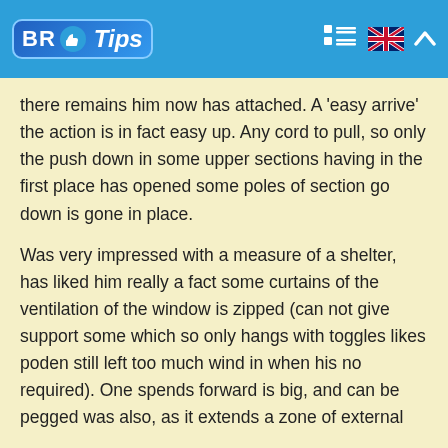BR Tips
there remains him now has attached. A 'easy arrive' the action is in fact easy up. Any cord to pull, so only the push down in some upper sections having in the first place has opened some poles of section go down is gone in place.
Was very impressed with a measure of a shelter, has liked him really a fact some curtains of the ventilation of the window is zipped (can not give support some which so only hangs with toggles likes poden still left too much wind in when his no required). One spends forward is big, and can be pegged was also, as it extends a zone of external